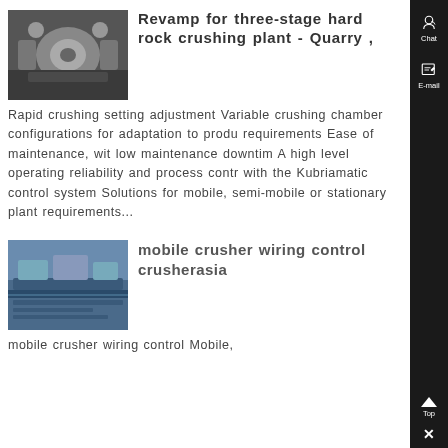Revamp for three-stage hard rock crushing plant - Quarry ,
Rapid crushing setting adjustment Variable crushing chamber configurations for adaptation to produ requirements Ease of maintenance, wit low maintenance downtim A high level operating reliability and process contr with the Kubriamatic control system Solutions for mobile, semi-mobile or stationary plant requirements...
mobile crusher wiring control crusherasia
mobile crusher wiring control Mobile,